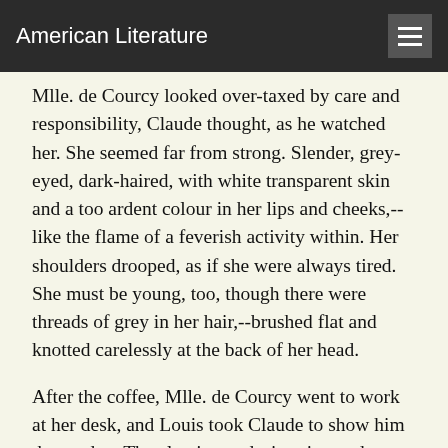American Literature
Mlle. de Courcy looked over-taxed by care and responsibility, Claude thought, as he watched her. She seemed far from strong. Slender, grey-eyed, dark-haired, with white transparent skin and a too ardent colour in her lips and cheeks,--like the flame of a feverish activity within. Her shoulders drooped, as if she were always tired. She must be young, too, though there were threads of grey in her hair,--brushed flat and knotted carelessly at the back of her head.
After the coffee, Mlle. de Courcy went to work at her desk, and Louis took Claude to show him the garden. The clearing and trimming and planting